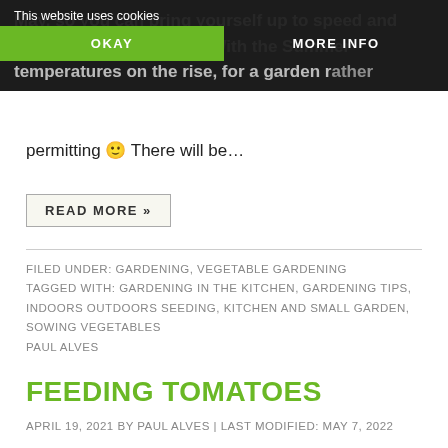May, so you can bring yourself up to speed and start planting this June. With the Summer temperatures on the rise, for a garden rather
This website uses cookies
OKAY
MORE INFO
permitting 🙂 There will be…
READ MORE »
FILED UNDER: GARDENING, VEGETABLE GARDENING
TAGGED WITH: GARDENING IN THE KITCHEN, GARDENING TIPS, INDOORS OUTDOORS SEEDING, KITCHEN AND SMALL GARDEN, SOWING VEGETABLES
PAUL ALVES
FEEDING TOMATOES
APRIL 19, 2021 BY PAUL ALVES | LAST MODIFIED: MAY 7, 2022